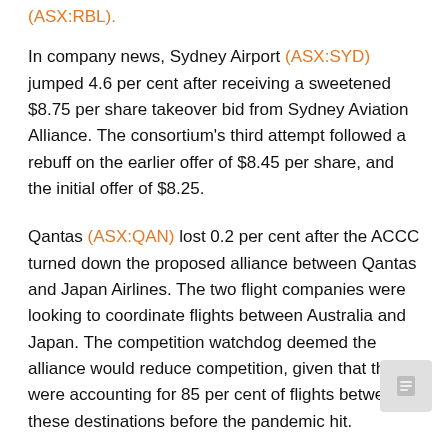(ASX:RBL).
In company news, Sydney Airport (ASX:SYD) jumped 4.6 per cent after receiving a sweetened $8.75 per share takeover bid from Sydney Aviation Alliance. The consortium's third attempt followed a rebuff on the earlier offer of $8.45 per share, and the initial offer of $8.25.
Qantas (ASX:QAN) lost 0.2 per cent after the ACCC turned down the proposed alliance between Qantas and Japan Airlines. The two flight companies were looking to coordinate flights between Australia and Japan. The competition watchdog deemed the alliance would reduce competition, given that they were accounting for 85 per cent of flights between these destinations before the pandemic hit.
Local economic news